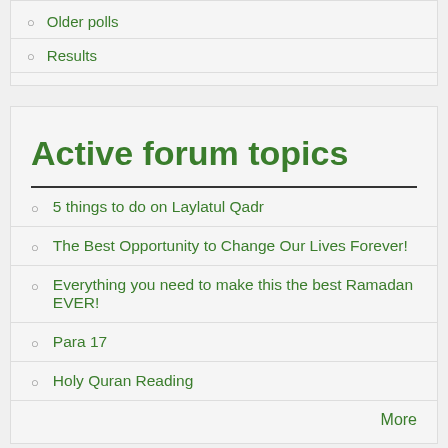Older polls
Results
Active forum topics
5 things to do on Laylatul Qadr
The Best Opportunity to Change Our Lives Forever!
Everything you need to make this the best Ramadan EVER!
Para 17
Holy Quran Reading
More